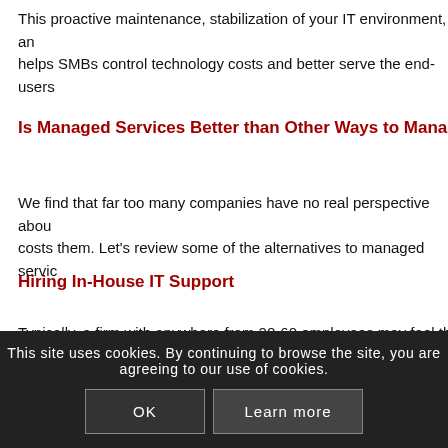This proactive maintenance, stabilization of your IT environment, an helps SMBs control technology costs and better serve the end-users
Is Managed Services Better than Other Ways to Manag
We find that far too many companies have no real perspective abou costs them. Let's review some of the alternatives to managed servic
Hiring In-House IT Support
Typically, a firm with anywhere from 20-60 employees may feel that technology. Understand that this one full-time employee can demand have to be proficient with desktop, server and network support, and the Help Desk role and management. They will likely be overworked oversights that may prove to be costly. And what happens if they're
The Break/F
This site uses cookies. By continuing to browse the site, you are agreeing to our use of cookies.